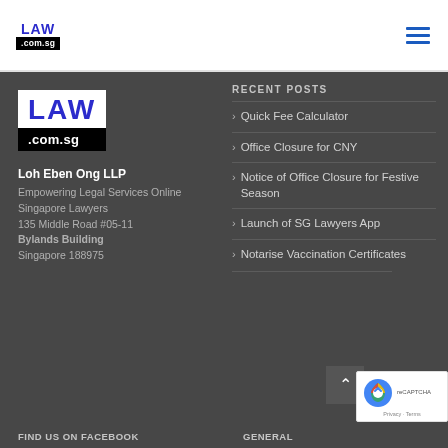[Figure (logo): LAW .com.sg logo in top header bar]
[Figure (logo): LAW .com.sg large logo in footer left column]
Loh Eben Ong LLP
Empowering Legal Services Online
Singapore Lawyers
135 Middle Road #05-11
Bylands Building
Singapore 188975
RECENT POSTS
Quick Fee Calculator
Office Closure for CNY
Notice of Office Closure for Festive Season
Launch of SG Lawyers App
Notarise Vaccination Certificates
FIND US ON FACEBOOK
GENERAL